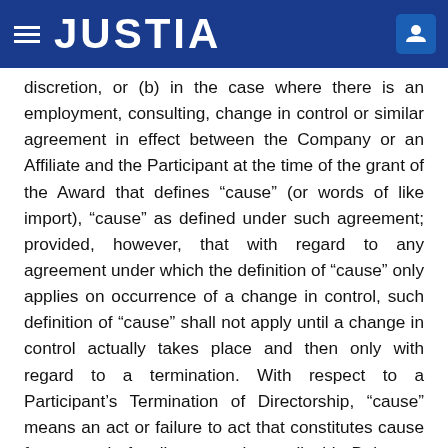JUSTIA
discretion, or (b) in the case where there is an employment, consulting, change in control or similar agreement in effect between the Company or an Affiliate and the Participant at the time of the grant of the Award that defines “cause” (or words of like import), “cause” as defined under such agreement; provided, however, that with regard to any agreement under which the definition of “cause” only applies on occurrence of a change in control, such definition of “cause” shall not apply until a change in control actually takes place and then only with regard to a termination. With respect to a Participant’s Termination of Directorship, “cause” means an act or failure to act that constitutes cause for removal of a director under applicable Delaware law.